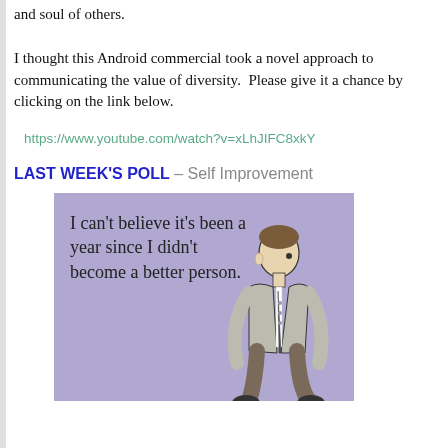and soul of others.
I thought this Android commercial took a novel approach to communicating the value of diversity. Please give it a chance by clicking on the link below.
https://www.youtube.com/watch?v=xLhJIFC8xkY
LAST WEEK'S POLL – Self Improvement
[Figure (illustration): Purple background image with text reading 'I can't believe it's been a year since I didn't become a better person.' with a seated man in a suit illustration on the right side.]